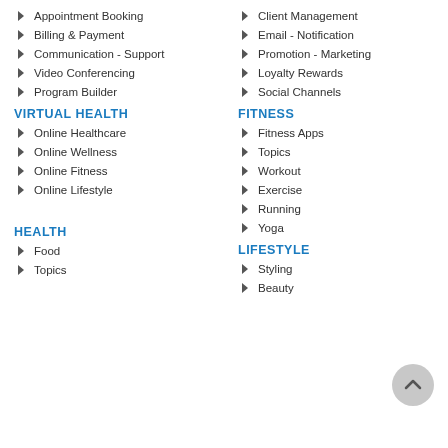Appointment Booking
Billing & Payment
Communication - Support
Video Conferencing
Program Builder
VIRTUAL HEALTH
Online Healthcare
Online Wellness
Online Fitness
Online Lifestyle
HEALTH
Food
Topics
Client Management
Email - Notification
Promotion - Marketing
Loyalty Rewards
Social Channels
FITNESS
Fitness Apps
Topics
Workout
Exercise
Running
Yoga
LIFESTYLE
Styling
Beauty